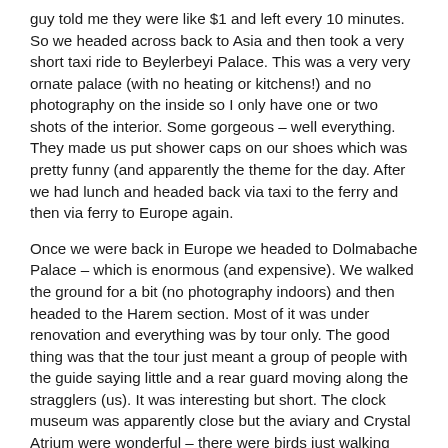guy told me they were like $1 and left every 10 minutes. So we headed across back to Asia and then took a very short taxi ride to Beylerbeyi Palace. This was a very very ornate palace (with no heating or kitchens!) and no photography on the inside so I only have one or two shots of the interior. Some gorgeous – well everything. They made us put shower caps on our shoes which was pretty funny (and apparently the theme for the day. After we had lunch and headed back via taxi to the ferry and then via ferry to Europe again.
Once we were back in Europe we headed to Dolmabache Palace – which is enormous (and expensive). We walked the ground for a bit (no photography indoors) and then headed to the Harem section. Most of it was under renovation and everything was by tour only. The good thing was that the tour just meant a group of people with the guide saying little and a rear guard moving along the stragglers (us). It was interesting but short. The clock museum was apparently close but the aviary and Crystal Atrium were wonderful – there were birds just walking around it was pretty neat. We finally headed into the palace proper and got into an English tour group (required) that was too big and most people didn't speak English. So from the back you could hear nothing and people kept pushing and showing. We stayed in the back (cause otherwise people ran all over you) and these 3 really rude ladies in front of us started arguing with the security guard who was telling them not to linger. The funny thing was – we were behind them so we could take our time and he would yell at them. One of the three had a perfume bottle and every few minutes would spray herself (and the surrounding area) with